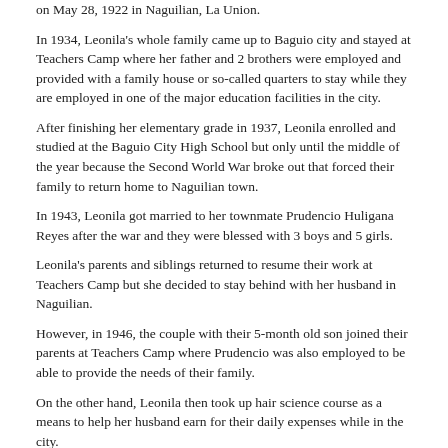on May 28, 1922 in Naguilian, La Union.
In 1934, Leonila's whole family came up to Baguio city and stayed at Teachers Camp where her father and 2 brothers were employed and provided with a family house or so-called quarters to stay while they are employed in one of the major education facilities in the city.
After finishing her elementary grade in 1937, Leonila enrolled and studied at the Baguio City High School but only until the middle of the year because the Second World War broke out that forced their family to return home to Naguilian town.
In 1943, Leonila got married to her townmate Prudencio Huligana Reyes after the war and they were blessed with 3 boys and 5 girls.
Leonila's parents and siblings returned to resume their work at Teachers Camp but she decided to stay behind with her husband in Naguilian.
However, in 1946, the couple with their 5-month old son joined their parents at Teachers Camp where Prudencio was also employed to be able to provide the needs of their family.
On the other hand, Leonila then took up hair science course as a means to help her husband earn for their daily expenses while in the city.
Years later, Leonila enrolled to take up a 2-year elementary teachers certificate course at the Baguio Colleges Foundation (BCF).
As a new teacher, she was given a substitute position in different schools in Benguet where she exemplified good performance that promoted the School District Supervisor